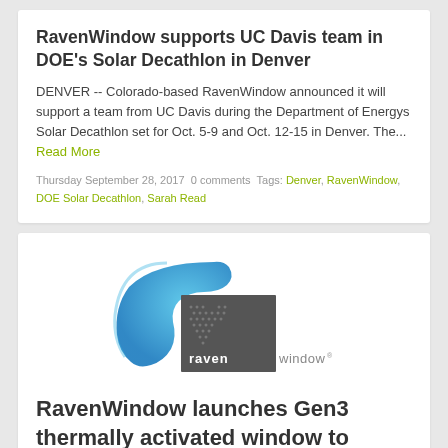RavenWindow supports UC Davis team in DOE's Solar Decathlon in Denver
DENVER -- Colorado-based RavenWindow announced it will support a team from UC Davis during the Department of Energys Solar Decathlon set for Oct. 5-9 and Oct. 12-15 in Denver. The... Read More
Thursday September 28, 2017 0 comments Tags: Denver, RavenWindow, DOE Solar Decathlon, Sarah Read
[Figure (logo): RavenWindow logo — blue arc shape on left, dark grey square with dot-pattern raven bird on right, text 'raven window' below]
RavenWindow launches Gen3 thermally activated window to optimize natural light, enhance comfort